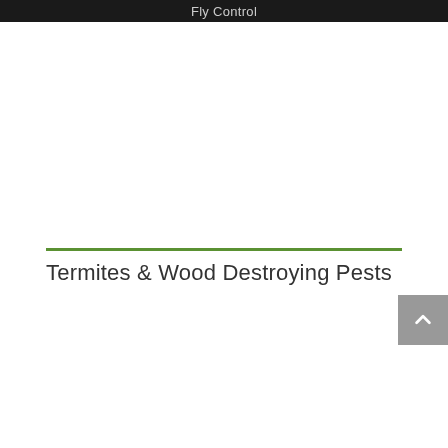Fly Control
Termites & Wood Destroying Pests